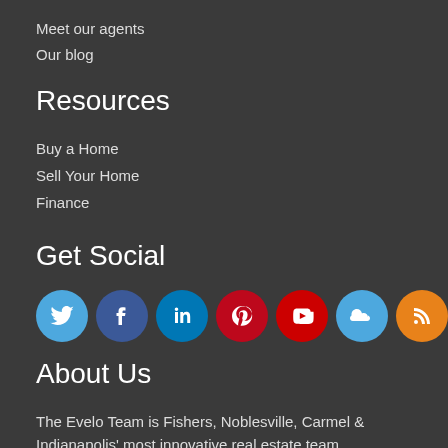Meet our agents
Our blog
Resources
Buy a Home
Sell Your Home
Finance
Get Social
[Figure (infographic): Row of 8 social media icon circles: Twitter (blue), Facebook (dark blue), LinkedIn (blue), Pinterest (red), YouTube (red), SoundCloud (blue), RSS (orange), Instagram (pink/magenta)]
About Us
The Evelo Team is Fishers, Noblesville, Carmel & Indianapolis' most innovative real estate team.
The Evelo Team
9865 E. 116th St. Suite 800, Fishers, IN 46037